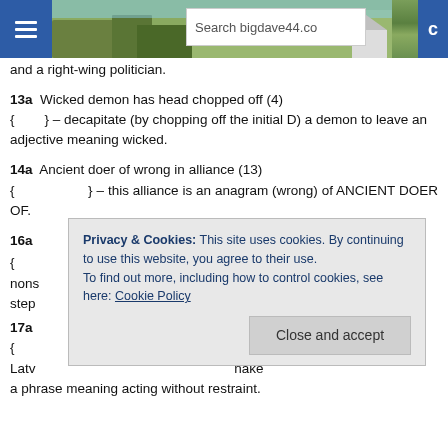Search bigdave44.co
and a right-wing politician.
13a  Wicked demon has head chopped off (4)
{        } – decapitate (by chopping off the initial D) a demon to leave an adjective meaning wicked.
14a  Ancient doer of wrong in alliance (13)
{                   } – this alliance is an anagram (wrong) of ANCIENT DOER OF.
16a
Privacy & Cookies: This site uses cookies. By continuing to use this website, you agree to their use.
To find out more, including how to control cookies, see here: Cookie Policy
Close and accept
17a
a phrase meaning acting without restraint.